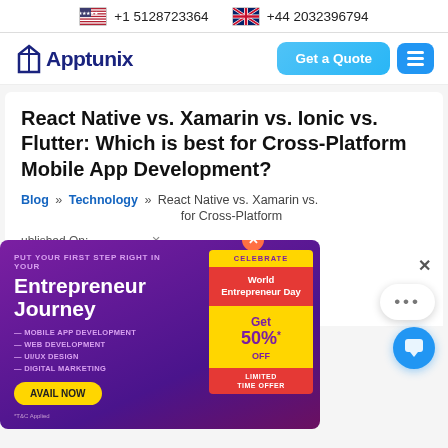+1 5128723364   +44 2032396794
[Figure (screenshot): Apptunix website navigation bar with logo, Get a Quote button, and hamburger menu]
React Native vs. Xamarin vs. Ionic vs. Flutter: Which is best for Cross-Platform Mobile App Development?
Blog » Technology » React Native vs. Xamarin vs. [Ionic vs. Flutter: Which is best] for Cross-Platform [Mobile App Development?]
[Published On:]   [Last Updated: M...]
[Figure (infographic): Promotional popup ad: PUT YOUR FIRST STEP RIGHT IN YOUR Entrepreneur Journey — MOBILE APP DEVELOPMENT, WEB DEVELOPMENT, UI/UX DESIGN, DIGITAL MARKETING — AVAIL NOW. CELEBRATE World Entrepreneur Day Get 50% OFF LIMITED TIME OFFER. *T&C Applied]